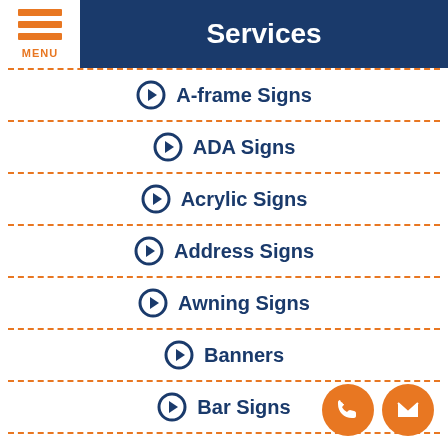Services
A-frame Signs
ADA Signs
Acrylic Signs
Address Signs
Awning Signs
Banners
Bar Signs